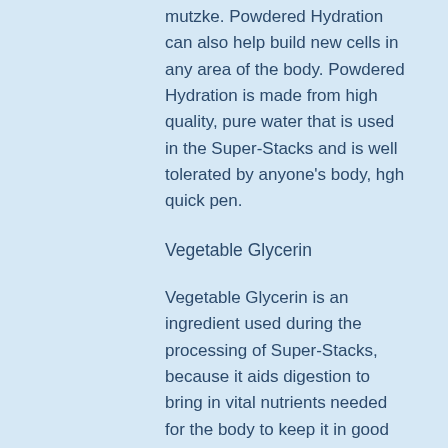mutzke. Powdered Hydration can also help build new cells in any area of the body. Powdered Hydration is made from high quality, pure water that is used in the Super-Stacks and is well tolerated by anyone's body, hgh quick pen.
Vegetable Glycerin
Vegetable Glycerin is an ingredient used during the processing of Super-Stacks, because it aids digestion to bring in vital nutrients needed for the body to keep it in good shape. Vegetable Glycerin is made from a variety of different natural ingredients. This ingredient is used to help dissolve cell wall, which is what makes the Super-Stacks unique, best hgh pills. It is most used in the ingredient list in the Super-Stacks, and its benefits are thought to be great for health and longevity.